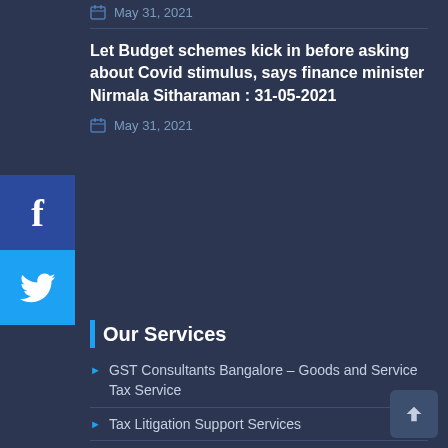May 31, 2021
Let Budget schemes kick in before asking about Covid stimulus, says finance minister Nirmala Sitharaman : 31-05-2021
May 31, 2021
Our Services
GST Consultants Bangalore – Goods and Service Tax Service
Tax Litigation Support Services
Virtual CFO Services